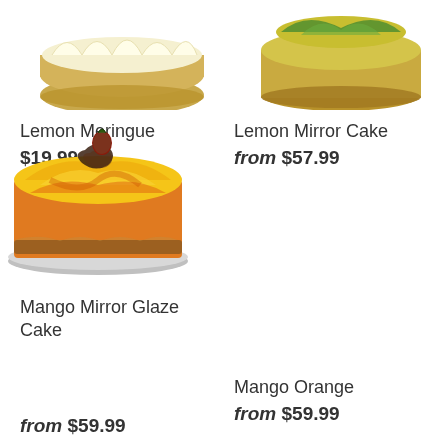[Figure (photo): Lemon Meringue cake, partially cropped at top, shown from above on a gold board with white meringue topping]
Lemon Meringue
$19.99
[Figure (photo): Lemon Mirror Cake, partially cropped at top, round cake on gold board with green and yellow mirror glaze decoration]
Lemon Mirror Cake
from $57.99
[Figure (photo): Mango Mirror Glaze Cake with glossy yellow-orange mirror glaze, chocolate curl decoration and a chocolate-dipped strawberry on top, sitting on a silver cake board]
Mango Mirror Glaze Cake
from $59.99
Mango Orange